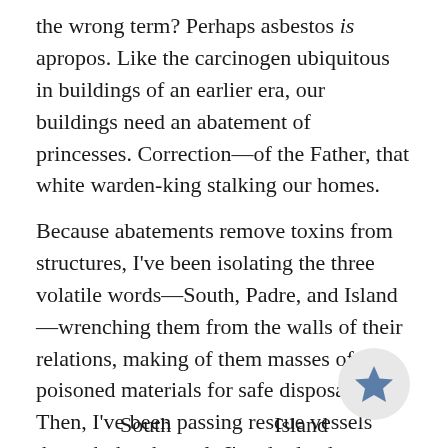the wrong term? Perhaps asbestos is apropos. Like the carcinogen ubiquitous in buildings of an earlier era, our buildings need an abatement of princesses. Correction—of the Father, that white warden-king stalking our homes.
Because abatements remove toxins from structures, I've been isolating the three volatile words—South, Padre, and Island—wrenching them from the walls of their relations, making of them masses of poisoned materials for safe disposal. Then, I've been passing rescue vessels through the channels I've dredged—
South                                                                    Island